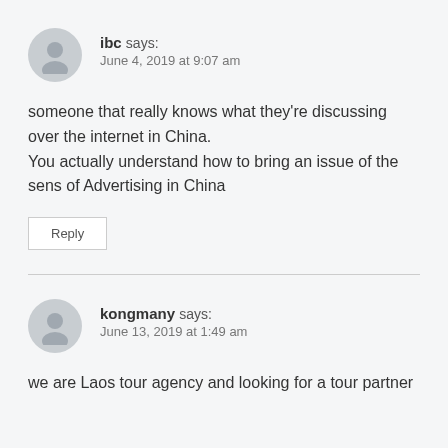ibc says: June 4, 2019 at 9:07 am
someone that really knows what they're discussing over the internet in China.
You actually understand how to bring an issue of the sens of Advertising in China
Reply
kongmany says: June 13, 2019 at 1:49 am
we are Laos tour agency and looking for a tour partner